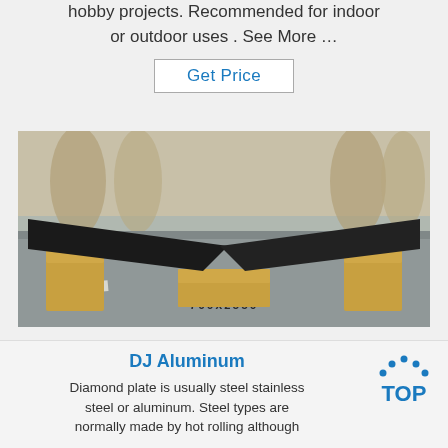hobby projects. Recommended for indoor or outdoor uses . See More …
Get Price
[Figure (photo): Two dark steel/black flat bar plates resting on wooden supports (lumber) on a warehouse concrete floor, with a stamp reading '700X2550' on the wood.]
DJ Aluminum
Diamond plate is usually steel stainless steel or aluminum. Steel types are normally made by hot rolling although